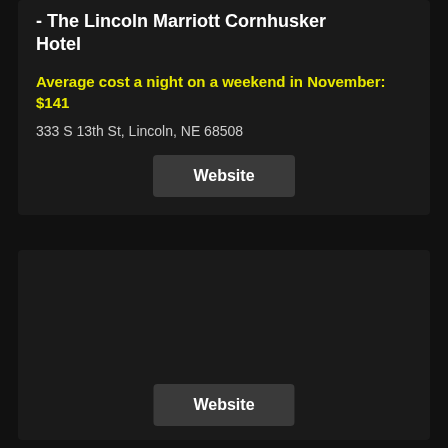- The Lincoln Marriott Cornhusker Hotel
Average cost a night on a weekend in November: $141
333 S 13th St, Lincoln, NE 68508
Website
Website